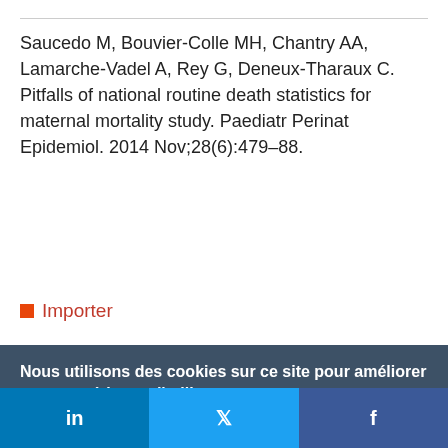Saucedo M, Bouvier-Colle MH, Chantry AA, Lamarche-Vadel A, Rey G, Deneux-Tharaux C. Pitfalls of national routine death statistics for maternal mortality study. Paediatr Perinat Epidemiol. 2014 Nov;28(6):479–88.
Importer
Nous utilisons des cookies sur ce site pour améliorer votre expérience d'utilisateur.
En cliquant sur un lien de cette page, vous nous donnez votre consentement de définir des cookies.
Oui, je suis d'accord | Plus d'infos
in | Twitter | f